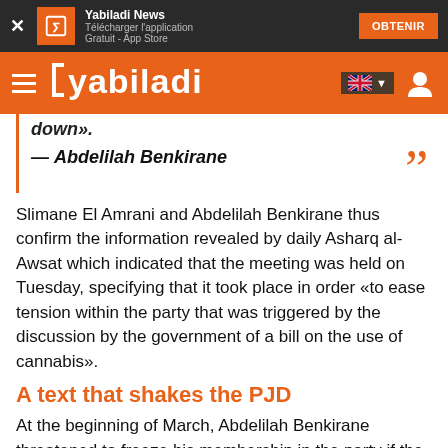Yabiladi News — Télécharger l'application — Gratuit - App Store — OBTENIR
[Figure (logo): Yabiladi orange navigation bar with hamburger menu, Yabiladi logo in white, UK flag icon, and user profile icon]
down».
— Abdelilah Benkirane
Slimane El Amrani and Abdelilah Benkirane thus confirm the information revealed by daily Asharq al-Awsat which indicated that the meeting was held on Tuesday, specifying that it took place in order «to ease tension within the party that was triggered by the discussion by the government of a bill on the use of cannabis».
A text that shakes the PJD
At the beginning of March, Abdelilah Benkirane threatened to freeze his membership in the party if the cannabis text into of the political are art